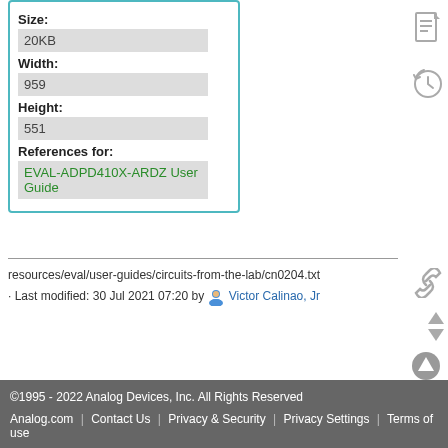| Size: | 20KB |
| Width: | 959 |
| Height: | 551 |
| References for: | EVAL-ADPD410X-ARDZ User Guide |
resources/eval/user-guides/circuits-from-the-lab/cn0204.txt
· Last modified: 30 Jul 2021 07:20 by Victor Calinao, Jr
©1995 - 2022 Analog Devices, Inc. All Rights Reserved | Analog.com | Contact Us | Privacy & Security | Privacy Settings | Terms of use